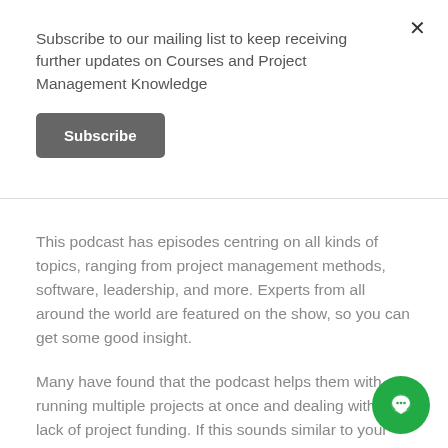Subscribe to our mailing list to keep receiving further updates on Courses and Project Management Knowledge
Subscribe
This podcast has episodes centring on all kinds of topics, ranging from project management methods, software, leadership, and more. Experts from all around the world are featured on the show, so you can get some good insight.
Many have found that the podcast helps them with running multiple projects at once and dealing with a lack of project funding. If this sounds similar to your experience, th be a helpful listen.